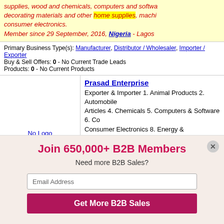supplies, wood and chemicals, computers and software, decorating materials and other home supplies, machinery, consumer electronics. Member since 29 September, 2016, Nigeria - Lagos
Primary Business Type(s): Manufacturer, Distributor / Wholesaler, Importer / Exporter
Buy & Sell Offers: 0 - No Current Trade Leads
Products: 0 - No Current Products
Prasad Enterprise - Exporter & Importer 1. Animal Products 2. Automobile Articles 4. Chemicals 5. Computers & Software 6. Consumer Electronics 8. Energy & Environment 9. Fa... We are regularly Buying: base metals articles, computers, consumer electronics, energy environment, food, health commodities, machinery, electronics, miscellaneous...
Join 650,000+ B2B Members
Need more B2B Sales?
Email Address
Get More B2B Sales